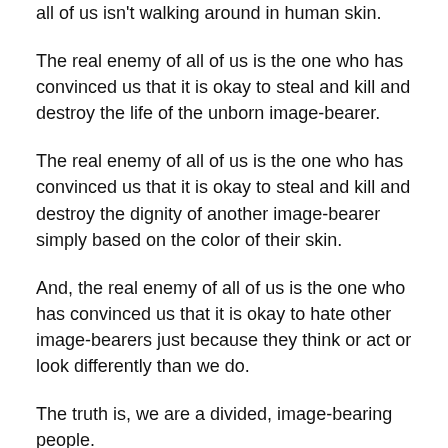all of us isn't walking around in human skin.
The real enemy of all of us is the one who has convinced us that it is okay to steal and kill and destroy the life of the unborn image-bearer.
The real enemy of all of us is the one who has convinced us that it is okay to steal and kill and destroy the dignity of another image-bearer simply based on the color of their skin.
And, the real enemy of all of us is the one who has convinced us that it is okay to hate other image-bearers just because they think or act or look differently than we do.
The truth is, we are a divided, image-bearing people.
And, if there was ever a time (and a week) where we need